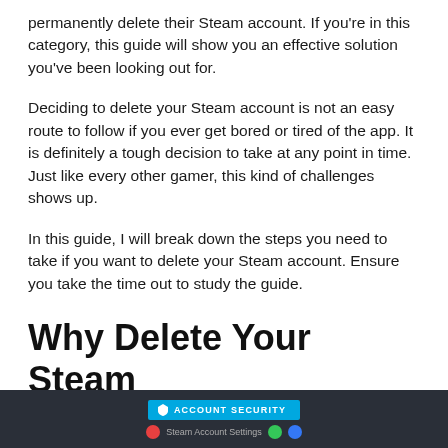permanently delete their Steam account. If you're in this category, this guide will show you an effective solution you've been looking out for.
Deciding to delete your Steam account is not an easy route to follow if you ever get bored or tired of the app. It is definitely a tough decision to take at any point in time. Just like every other gamer, this kind of challenges shows up.
In this guide, I will break down the steps you need to take if you want to delete your Steam account. Ensure you take the time out to study the guide.
Why Delete Your Steam Account?
ACCOUNT SECURITY